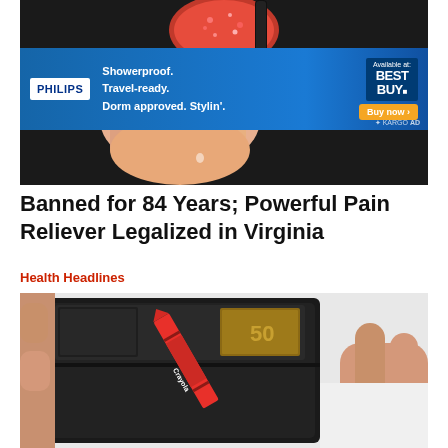[Figure (photo): Close-up of a hand holding a red crystalline/gummy candy-like object and what appears to be a black electric shaver/razor against a dark background]
[Figure (other): Philips advertisement banner: 'Showerproof. Travel-ready. Dorm approved. Stylin.' with Best Buy logo and 'Buy now' button on blue background]
Banned for 84 Years; Powerful Pain Reliever Legalized in Virginia
Health Headlines
[Figure (photo): Hands opening a dark leather wallet with a Crayola crayon and what appears to be a euro banknote inside]